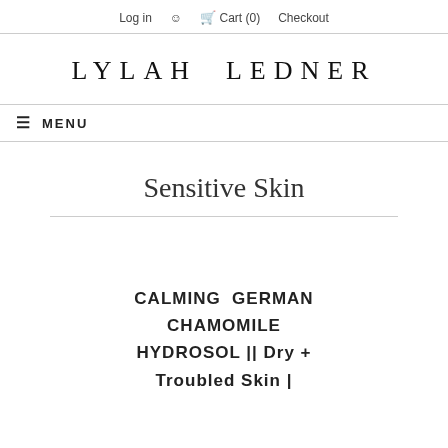Log in   Cart (0)   Checkout
LYLAH LEDNER
≡ MENU
Sensitive Skin
CALMING  GERMAN CHAMOMILE HYDROSOL || Dry + Troubled Skin |